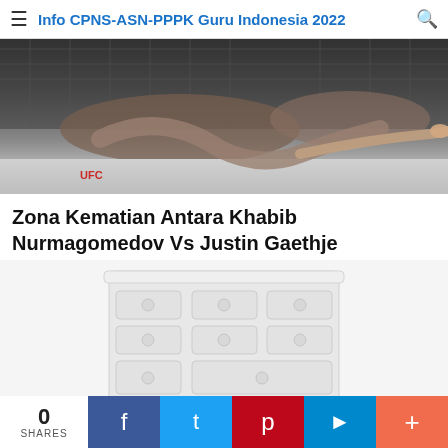Info CPNS-ASN-PPPK Guru Indonesia 2022
[Figure (photo): UFC fighters in a match, one fighter pinning another on the canvas near the octagon fence]
Zona Kematian Antara Khabib Nurmagomedov Vs Justin Gaethje
[Figure (photo): Advertisement image showing a white dresser with multiple drawers and circular knobs]
0 SHARES
Facebook share button, Twitter share button, Pinterest share button, Telegram share button, More share button